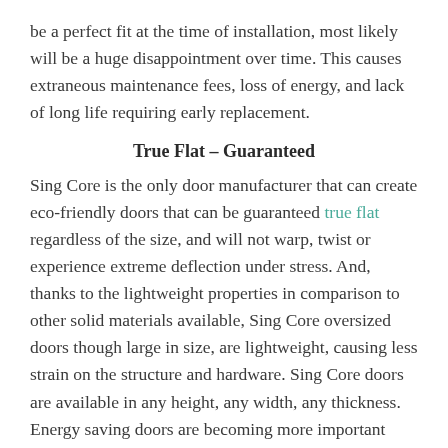be a perfect fit at the time of installation, most likely will be a huge disappointment over time. This causes extraneous maintenance fees, loss of energy, and lack of long life requiring early replacement.
True Flat – Guaranteed
Sing Core is the only door manufacturer that can create eco-friendly doors that can be guaranteed true flat regardless of the size, and will not warp, twist or experience extreme deflection under stress. And, thanks to the lightweight properties in comparison to other solid materials available, Sing Core oversized doors though large in size, are lightweight, causing less strain on the structure and hardware. Sing Core doors are available in any height, any width, any thickness. Energy saving doors are becoming more important especially when considering doors of large size. Sing Core large oversize doors are extremely energy efficient due to